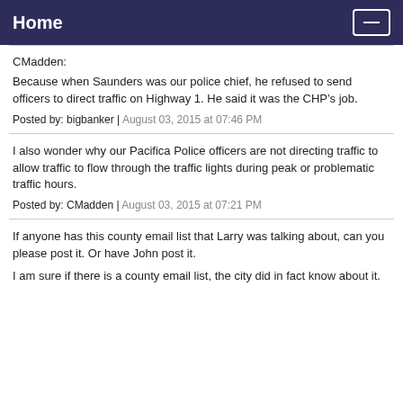Home
CMadden:
Because when Saunders was our police chief, he refused to send officers to direct traffic on Highway 1. He said it was the CHP’s job.
Posted by: bigbanker | August 03, 2015 at 07:46 PM
I also wonder why our Pacifica Police officers are not directing traffic to allow traffic to flow through the traffic lights during peak or problematic traffic hours.
Posted by: CMadden | August 03, 2015 at 07:21 PM
If anyone has this county email list that Larry was talking about, can you please post it. Or have John post it.
I am sure if there is a county email list, the city did in fact know about it.